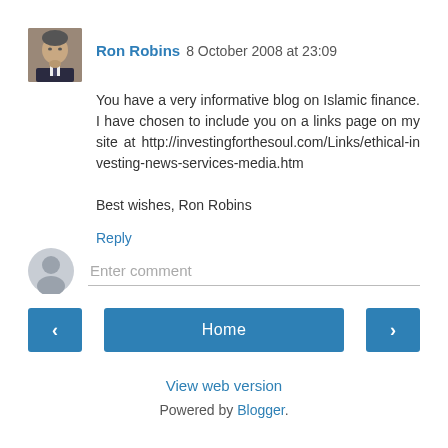[Figure (photo): Headshot photo of Ron Robins, a middle-aged man in a suit]
Ron Robins  8 October 2008 at 23:09
You have a very informative blog on Islamic finance. I have chosen to include you on a links page on my site at http://investingforthesoul.com/Links/ethical-investing-news-services-media.htm

Best wishes, Ron Robins
Reply
[Figure (other): Generic user avatar placeholder icon]
Enter comment
Home
View web version
Powered by Blogger.